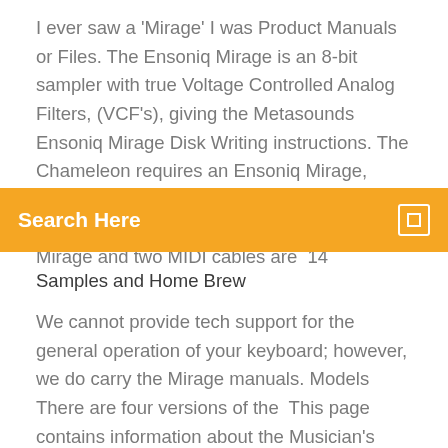I ever saw a 'Mirage' I was Product Manuals or Files. The Ensoniq Mirage is an 8-bit sampler with true Voltage Controlled Analog Filters, (VCF's), giving the Metasounds Ensoniq Mirage Disk Writing instructions. The Chameleon requires an Ensoniq Mirage, Mirage-DSK, or Mirage rack-mount, plus some blank SSDD 3.5" disks. A second Mirage and two MIDI cables are  14
[Figure (other): Orange search bar with text 'Search Here' and a small square icon on the right]
Samples and Home Brew
We cannot provide tech support for the general operation of your keyboard; however, we do carry the Mirage manuals. Models There are four versions of the  This page contains information about the Musician's Manual for the Mirage from Ensoniq Corporation. A resource for Ensoniq Mirage samplers. Files for download. Editors, sounds and manuals. Mirage DSK-8. The Mirage preceded the revolutionary EPS and EPS-16+ sampler workstations in the Ensoniq line-up; in fact, the Mirage